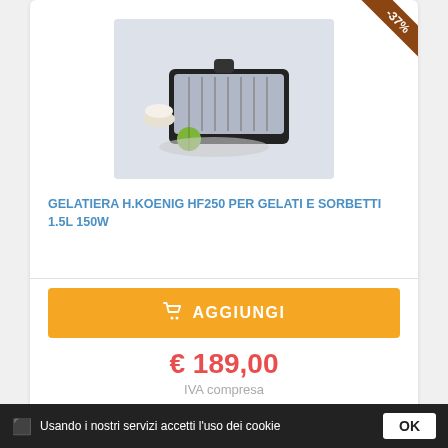[Figure (photo): Ice cream maker appliance H.Koenig HF250, silver and black, with ice cream and lime on tray, discount badge -37% in top right corner]
GELATIERA H.KOENIG HF250 PER GELATI E SORBETTI 1.5L 150W
AGGIUNGI
€ 189,00
IVA compresa
€ 299,00
[Figure (photo): Partial view of a second product card showing a vacuum cleaner, with a discount badge partially visible]
Usando i nostri servizi accetti l'uso dei cookie
OK